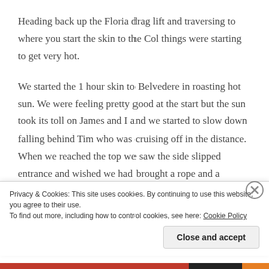Heading back up the Floria drag lift and traversing to where you start the skin to the Col things were starting to get very hot.
We started the 1 hour skin to Belvedere in roasting hot sun. We were feeling pretty good at the start but the sun took its toll on James and I and we started to slow down falling behind Tim who was cruising off in the distance. When we reached the top we saw the side slipped entrance and wished we had brought a rope and a harness. Using the fixed 60m rope we slowly made our
Privacy & Cookies: This site uses cookies. By continuing to use this website, you agree to their use.
To find out more, including how to control cookies, see here: Cookie Policy
Close and accept